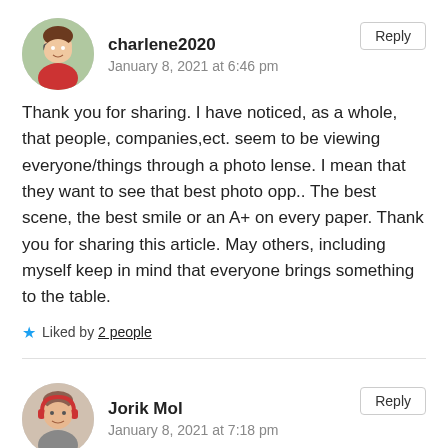[Figure (photo): Avatar photo of charlene2020, a woman with glasses and red shirt]
charlene2020
January 8, 2021 at 6:46 pm
Reply
Thank you for sharing. I have noticed, as a whole, that people, companies,ect. seem to be viewing everyone/things through a photo lense. I mean that they want to see that best photo opp.. The best scene, the best smile or an A+ on every paper. Thank you for sharing this article. May others, including myself keep in mind that everyone brings something to the table.
Liked by 2 people
[Figure (photo): Avatar photo of Jorik Mol, a man wearing headphones]
Jorik Mol
January 8, 2021 at 7:18 pm
Reply
Thank you for this blog, I'm a recent follower.